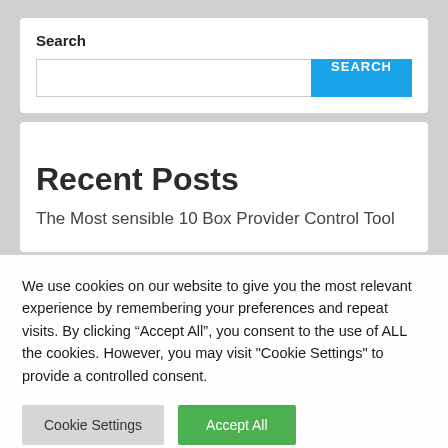Search
[Figure (screenshot): Search input box with a blue SEARCH button]
Recent Posts
The Most sensible 10 Box Provider Control Tool
We use cookies on our website to give you the most relevant experience by remembering your preferences and repeat visits. By clicking “Accept All”, you consent to the use of ALL the cookies. However, you may visit "Cookie Settings" to provide a controlled consent.
Cookie Settings | Accept All